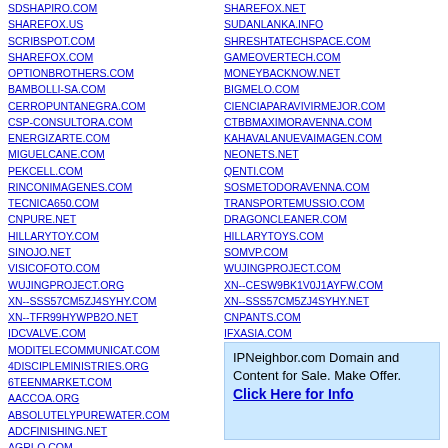SDSHAPIRO.COM
SHAREFOX.US
SCRIBSPOT.COM
SHAREFOX.COM
OPTIONBROTHERS.COM
BAMBOLLI-SA.COM
CERROPUNTANEGRA.COM
CSP-CONSULTORA.COM
ENERGIZARTE.COM
MIGUELCANE.COM
PEKCELL.COM
RINCONIMAGENES.COM
TECNICA650.COM
CNPURE.NET
HILLARYTOY.COM
SINOJO.NET
VISICOFOTO.COM
WUJINGPROJECT.ORG
XN--SSS57CM5ZJ4SYHY.COM
XN--TFR99HYWPB2O.NET
IDCVALVE.COM
MODITELECOMMUNICAT.COM
4DISCIPLEMINISTRIES.ORG
6TEENMARKET.COM
AACCOA.ORG
ABSOLUTELYPUREWATER.COM
ADCFINISHING.NET
AGRI-O.COM
SHAREFOX.NET
SUDANLANKA.INFO
SHRESHTATECHSPACE.COM
GAMEOVERTECH.COM
MONEYBACKNOW.NET
BIGMELO.COM
CIENCIAPARAVIVIRMEJOR.COM
CTBBMAXIMORAVENNA.COM
KAHAVALANUEVAIMAGEN.COM
NEONETS.NET
QENTI.COM
SOSMETODORAVENNA.COM
TRANSPORTEMUSSIO.COM
DRAGONCLEANER.COM
HILLARYTOYS.COM
SOMVP.COM
WUJINGPROJECT.COM
XN--CESW9BK1V0J1AYFW.COM
XN--SSS57CM5ZJ4SYHY.NET
CNPANTS.COM
IFXASIA.COM
10HOURSTOLIVE.ORG
4SEASONSPHOTO.NET
[Figure (other): Advertisement box: IPNeighbor.com Domain and Content for Sale. Make Offer. Click Here for Info]